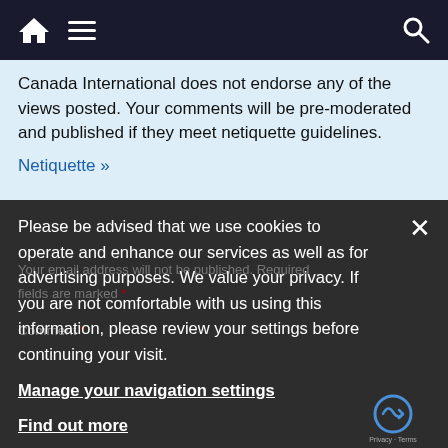Navigation bar with home icon, menu icon, search icon
Canada International does not endorse any of the views posted. Your comments will be pre-moderated and published if they meet netiquette guidelines.
Netiquette »
Please be advised that we use cookies to operate and enhance our services as well as for advertising purposes. We value your privacy. If you are not comfortable with us using this information, please review your settings before continuing your visit.
Manage your navigation settings
Find out more